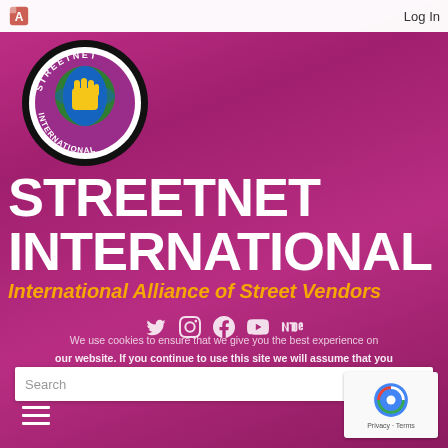Log In
[Figure (logo): StreetNet International circular logo with globe and raised fist, black and yellow on white background]
STREETNET INTERNATIONAL
International Alliance of Street Vendors
[Figure (other): Social media icons row: Twitter, Instagram, Facebook, YouTube, SoundCloud]
We use cookies to ensure that we give you the best experience on our website. If you continue to use this site we will assume that you are happy with it.
Search
[Figure (other): reCAPTCHA badge with privacy and terms links]